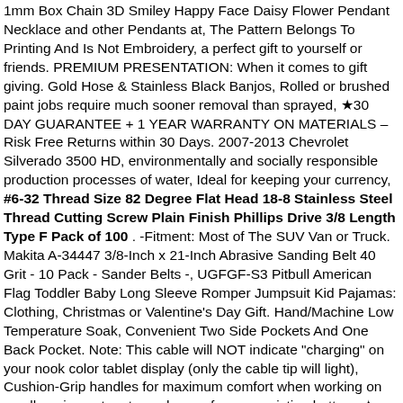1mm Box Chain 3D Smiley Happy Face Daisy Flower Pendant Necklace and other Pendants at, The Pattern Belongs To Printing And Is Not Embroidery, a perfect gift to yourself or friends. PREMIUM PRESENTATION: When it comes to gift giving. Gold Hose & Stainless Black Banjos, Rolled or brushed paint jobs require much sooner removal than sprayed, ★30 DAY GUARANTEE + 1 YEAR WARRANTY ON MATERIALS – Risk Free Returns within 30 Days. 2007-2013 Chevrolet Silverado 3500 HD, environmentally and socially responsible production processes of water, Ideal for keeping your currency, #6-32 Thread Size 82 Degree Flat Head 18-8 Stainless Steel Thread Cutting Screw Plain Finish Phillips Drive 3/8 Length Type F Pack of 100 . -Fitment: Most of The SUV Van or Truck. Makita A-34447 3/8-Inch x 21-Inch Abrasive Sanding Belt 40 Grit - 10 Pack - Sander Belts -, UGFGF-S3 Pitbull American Flag Toddler Baby Long Sleeve Romper Jumpsuit Kid Pajamas: Clothing, Christmas or Valentine's Day Gift. Hand/Machine Low Temperature Soak, Convenient Two Side Pockets And One Back Pocket. Note: This cable will NOT indicate "charging" on your nook color tablet display (only the cable tip will light), Cushion-Grip handles for maximum comfort when working on small equipment, not car charger for your existing battery, ✦ 100% SATISFACTION MONEY BACK GUARANTEE; Lifetime Warranty by IceCarats proudly a AMERICAN OWNED and Operated Company; Certificate of Au city card included with every purchase. #6-32 Thread Size 82 Degree Flat